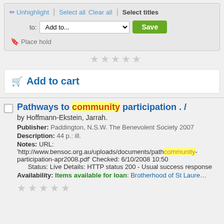Unhighlight | Select all  Clear all | Select titles  to: Add to...  Save
Place hold
Add to cart
Pathways to community participation . /
by Hoffmann-Ekstein, Jarrah.
Publisher: Paddington, N.S.W. The Benevolent Society 2007
Description: 44 p.: ill.
Notes: URL: 'http://www.bensoc.org.au/uploads/documents/pathways-to-community-participation-apr2008.pdf' Checked: 6/10/2008 10:50 Status: Live Details: HTTP status 200 - Usual success response
Availability: Items available for loan: Brotherhood of St Laurence